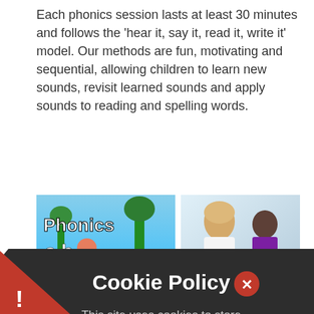Each phonics session lasts at least 30 minutes and follows the 'hear it, say it, read it, write it' model. Our methods are fun, motivating and sequential, allowing children to learn new sounds, revisit learned sounds and apply sounds to reading and spelling words.
[Figure (photo): Screenshot of a Phonics educational app showing the word 'Phonics' with letters a, b, c and a song graphic]
[Figure (photo): Photo of a teacher and a student sitting at a desk, the student appears to be a young boy in a school uniform]
Continuing... and extra support
Children ... across the d... hildren are as... meaning that as a th...xt group. As they ...t to blend sounds, children are encou...raged to learn ...non-exception words that do not follow phonetic
[Figure (screenshot): Cookie Policy overlay dialog with dark background. Title: Cookie Policy. Body: This site uses cookies to store information on your computer. Click here for more information. Two red buttons: Allow Cookies and Deny Cookies. Red X close button. Red warning triangle with exclamation mark at bottom left.]